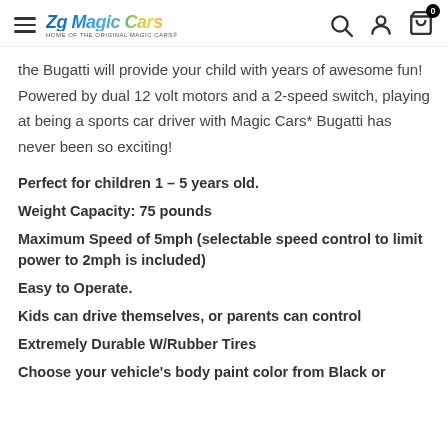Zg Magic Cars - HOME OF THE ORIGINAL MAGIC CARS
the Bugatti will provide your child with years of awesome fun! Powered by dual 12 volt motors and a 2-speed switch, playing at being a sports car driver with Magic Cars* Bugatti has never been so exciting!
Perfect for children 1 – 5 years old.
Weight Capacity: 75 pounds
Maximum Speed of 5mph (selectable speed control to limit power to 2mph is included)
Easy to Operate.
Kids can drive themselves, or parents can control
Extremely Durable W/Rubber Tires
Choose your vehicle's body paint color from Black or